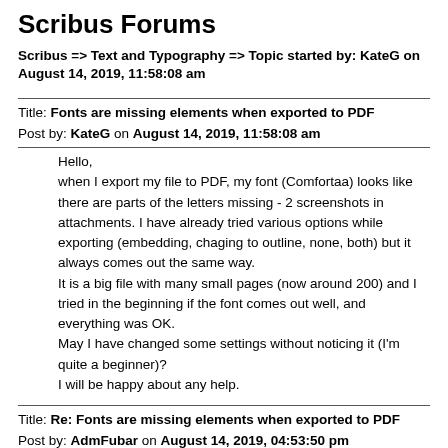Scribus Forums
Scribus => Text and Typography => Topic started by: KateG on August 14, 2019, 11:58:08 am
Title: Fonts are missing elements when exported to PDF
Post by: KateG on August 14, 2019, 11:58:08 am
Hello,
when I export my file to PDF, my font (Comfortaa) looks like there are parts of the letters missing - 2 screenshots in attachments. I have already tried various options while exporting (embedding, chaging to outline, none, both) but it always comes out the same way.
It is a big file with many small pages (now around 200) and I tried in the beginning if the font comes out well, and everything was OK.
May I have changed some settings without noticing it (I'm quite a beginner)?
I will be happy about any help.
Title: Re: Fonts are missing elements when exported to PDF
Post by: AdmFubar on August 14, 2019, 04:53:50 pm
Found the font, and did a test using scribus version 1.4.7. Exported as PDF and PNG, and have no issues as you